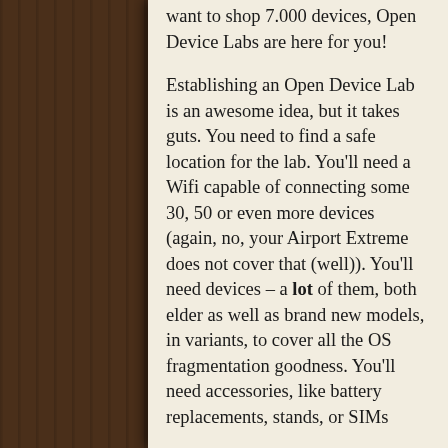want to shop 7.000 devices, Open Device Labs are here for you!
Establishing an Open Device Lab is an awesome idea, but it takes guts. You need to find a safe location for the lab. You'll need a Wifi capable of connecting some 30, 50 or even more devices (again, no, your Airport Extreme does not cover that (well)). You'll need devices – a lot of them, both elder as well as brand new models, in variants, to cover all the OS fragmentation goodness. You'll need accessories, like battery replacements, stands, or SIMs